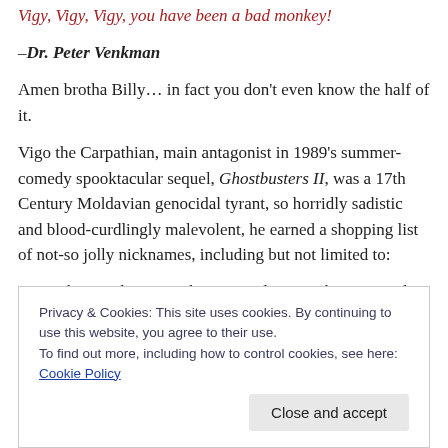Vigy, Vigy, Vigy, you have been a bad monkey!
–Dr. Peter Venkman
Amen brotha Billy… in fact you don't even know the half of it.
Vigo the Carpathian, main antagonist in 1989's summer-comedy spooktacular sequel, Ghostbusters II, was a 17th Century Moldavian genocidal tyrant, so horridly sadistic and blood-curdlingly malevolent, he earned a shopping list of not-so jolly nicknames, including but not limited to:
"Vigo the Cruel", "Vigo the Tortured", Vigo the Despised"
Privacy & Cookies: This site uses cookies. By continuing to use this website, you agree to their use.
To find out more, including how to control cookies, see here: Cookie Policy